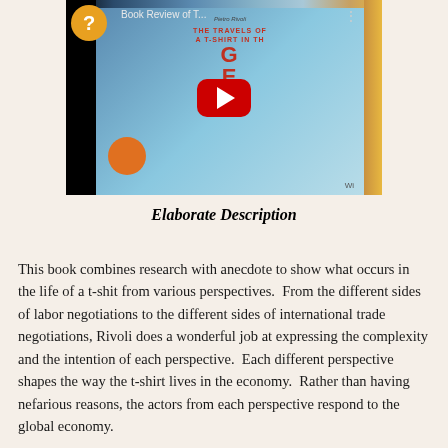[Figure (screenshot): YouTube video thumbnail showing a book review of 'The Travels of a T-Shirt in the Global Economy'. The video player shows a YouTube play button overlay on the book cover image. A question mark circle icon appears in the top left. The video title bar reads 'Book Review of T...' with three dots menu.]
Elaborate Description
This book combines research with anecdote to show what occurs in the life of a t-shit from various perspectives.  From the different sides of labor negotiations to the different sides of international trade negotiations, Rivoli does a wonderful job at expressing the complexity and the intention of each perspective.  Each different perspective shapes the way the t-shirt lives in the economy.  Rather than having nefarious reasons, the actors from each perspective respond to the global economy.